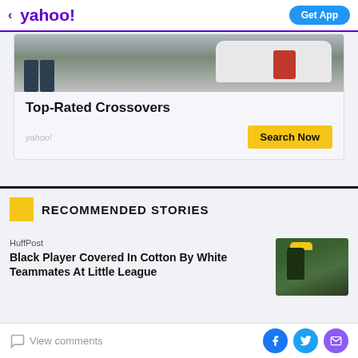< yahoo! | Get App
[Figure (photo): Car crossover with stroller/baby seat being loaded in trunk]
Top-Rated Crossovers
yahoo!
Search Now
RECOMMENDED STORIES
HuffPost
Black Player Covered In Cotton By White Teammates At Little League
[Figure (photo): Little league baseball players, one wearing a yellow cap]
View comments